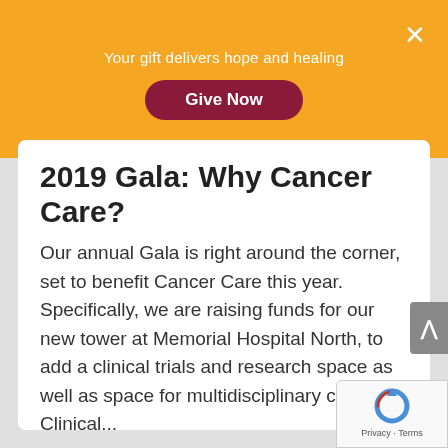Your gift delivers hope and healing
Give Now
2019 Gala: Why Cancer Care?
Our annual Gala is right around the corner, set to benefit Cancer Care this year. Specifically, we are raising funds for our new tower at Memorial Hospital North, to add a clinical trials and research space as well as space for multidisciplinary clinics. Clinical...
Learn more